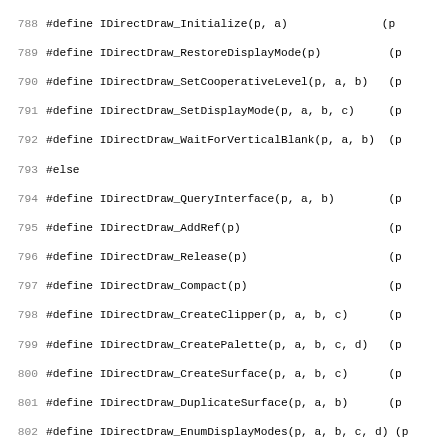Code listing showing C preprocessor #define macros for IDirectDraw interface methods, lines 788-819, including #else/#endif blocks
788 #define IDirectDraw_Initialize(p, a)
789 #define IDirectDraw_RestoreDisplayMode(p)
790 #define IDirectDraw_SetCooperativeLevel(p, a, b)
791 #define IDirectDraw_SetDisplayMode(p, a, b, c)
792 #define IDirectDraw_WaitForVerticalBlank(p, a, b)
793 #else
794 #define IDirectDraw_QueryInterface(p, a, b)
795 #define IDirectDraw_AddRef(p)
796 #define IDirectDraw_Release(p)
797 #define IDirectDraw_Compact(p)
798 #define IDirectDraw_CreateClipper(p, a, b, c)
799 #define IDirectDraw_CreatePalette(p, a, b, c, d)
800 #define IDirectDraw_CreateSurface(p, a, b, c)
801 #define IDirectDraw_DuplicateSurface(p, a, b)
802 #define IDirectDraw_EnumDisplayModes(p, a, b, c, d)
803 #define IDirectDraw_EnumSurfaces(p, a, b, c, d)
804 #define IDirectDraw_FlipToGDISurface(p)
805 #define IDirectDraw_GetCaps(p, a, b)
806 #define IDirectDraw_GetDisplayMode(p, a)
807 #define IDirectDraw_GetFourCCCodes(p, a, b)
808 #define IDirectDraw_GetGDISurface(p, a)
809 #define IDirectDraw_GetMonitorFrequency(p, a)
810 #define IDirectDraw_GetScanLine(p, a)
811 #define IDirectDraw_GetVerticalBlankStatus(p, a)
812 #define IDirectDraw_Initialize(p, a)
813 #define IDirectDraw_RestoreDisplayMode(p)
814 #define IDirectDraw_SetCooperativeLevel(p, a, b)
815 #define IDirectDraw_SetDisplayMode(p, a, b, c)
816 #define IDirectDraw_WaitForVerticalBlank(p, a, b)
817 #endif
818
819 #endif